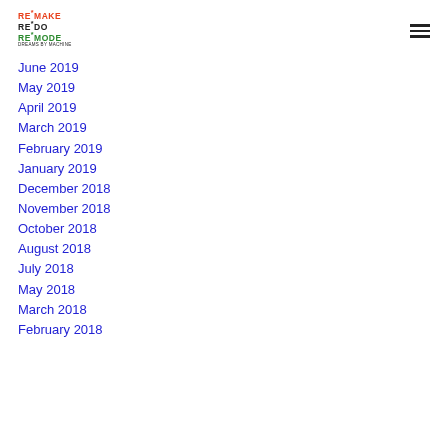RE*MAKE RE*DO RE*MODE DREAMS BY MACHINE
June 2019
May 2019
April 2019
March 2019
February 2019
January 2019
December 2018
November 2018
October 2018
August 2018
July 2018
May 2018
March 2018
February 2018